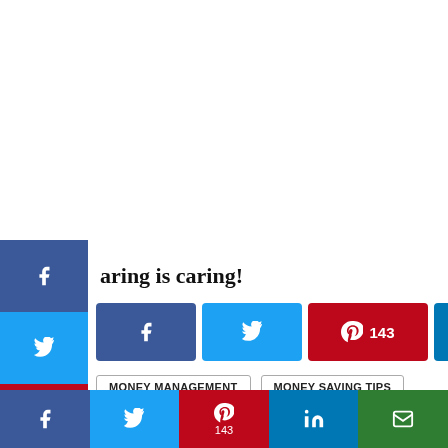aring is caring!
[Figure (screenshot): Social share buttons row: Facebook (dark blue), Twitter (light blue), Pinterest with count 143 (red), LinkedIn (blue), Email (green)]
MONEY MANAGEMENT
MONEY SAVING TIPS
MONEY TIPS
PERSONAL FINANCES
[Figure (photo): Circular author avatar photo of Aimee Gerka, a woman in a white outfit]
Aimee Gerka
[Figure (screenshot): Left sidebar with social share buttons: Facebook, Twitter, Pinterest (143), LinkedIn, Email]
[Figure (screenshot): Bottom bar with social share buttons: Facebook, Twitter, Pinterest (143), LinkedIn, Email]